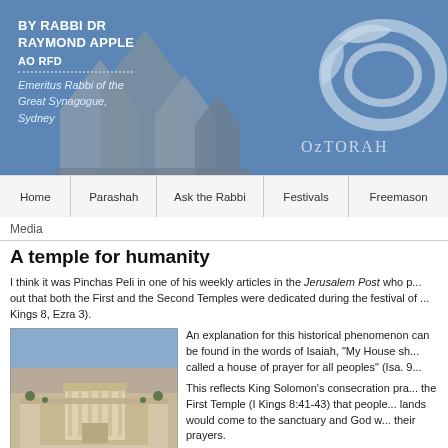BY RABBI DR RAYMOND APPLE AO RFD
Emeritus Rabbi of the Great Synagogue, Sydney
OzTORAH
Home | Parashah | Ask the Rabbi | Festivals | Freemasons
Media
A temple for humanity
I think it was Pinchas Peli in one of his weekly articles in the Jerusalem Post who pointed out that both the First and the Second Temples were dedicated during the festival of (I Kings 8, Ezra 3).
[Figure (photo): Aerial view model of the Jerusalem Temple complex]
An explanation for this historical phenomenon can be found in the words of Isaiah, “My House shall be called a house of prayer for all peoples” (Isa. 9).
This reflects King Solomon’s consecration prayer for the First Temple (I Kings 8:41-43) that people of all lands would come to the sanctuary and God would hear their prayers.
This is the Sukkot spirit, since the 70 offerings...